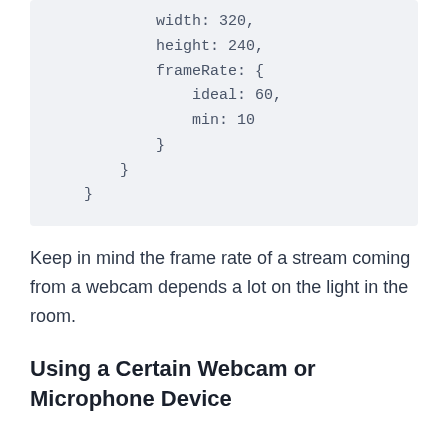width: 320,
            height: 240,
            frameRate: {
                ideal: 60,
                min: 10
            }
        }
    }
Keep in mind the frame rate of a stream coming from a webcam depends a lot on the light in the room.
Using a Certain Webcam or Microphone Device